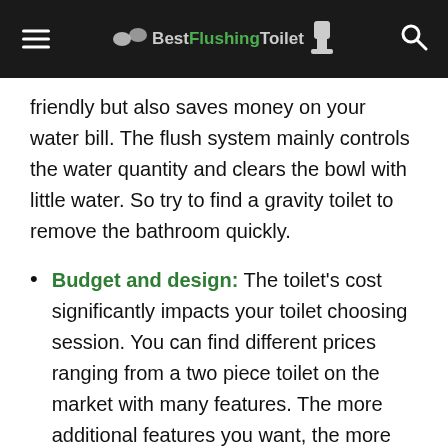Best Flushing Toilet
friendly but also saves money on your water bill. The flush system mainly controls the water quantity and clears the bowl with little water. So try to find a gravity toilet to remove the bathroom quickly.
Budget and design: The toilet's cost significantly impacts your toilet choosing session. You can find different prices ranging from a two piece toilet on the market with many features. The more additional features you want, the more money you need to add